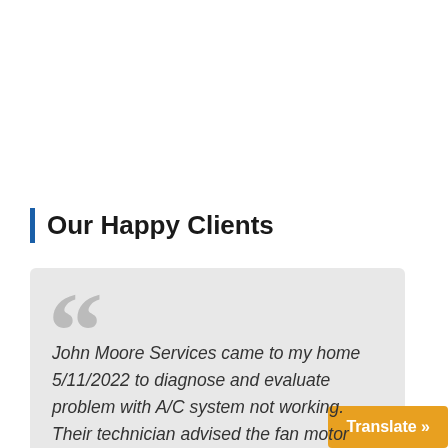Our Happy Clients
John Moore Services came to my home 5/11/2022 to diagnose and evaluate problem with A/C system not working. Their technician advised the fan motor was n…